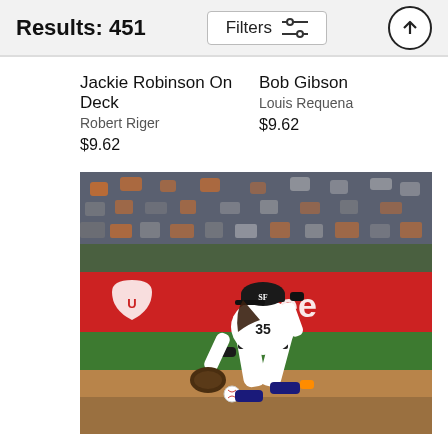Results: 451
Jackie Robinson On Deck
Robert Riger
$9.62
Bob Gibson
Louis Requena
$9.62
[Figure (photo): Baseball player in San Francisco Giants white uniform with number 35, fielding a ground ball, crouching low with glove extended toward a white baseball on the infield dirt. Red advertisement board visible in background.]